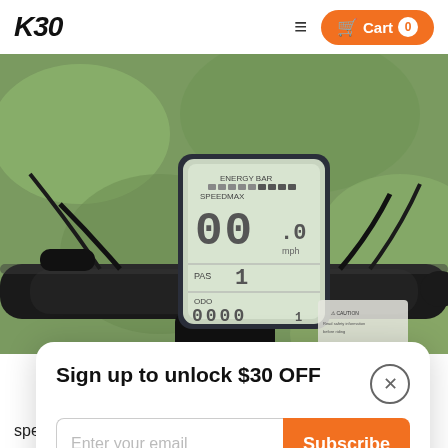KBO  ≡  Cart 0
[Figure (photo): Close-up photo of an e-bike handlebar with a digital LCD display showing ENERGY BAR, SPEEDMAX, speed reading 00.0 mph, PAS 1, ODO 0000, on a green bokeh background.]
Sign up to unlock $30 OFF
Enter your email
Subscribe
No thanks
speedometer, an odometer, a trip